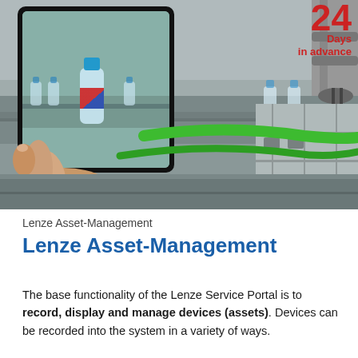[Figure (photo): Industrial scene with a hand holding a tablet showing a conveyor belt with water bottles. A robotic arm is visible in the upper right. Green ethernet/industrial cables run across the scene. A metal control cabinet is on the right. In the top right corner a red badge reads '24 Days in advance'.]
Lenze Asset-Management
Lenze Asset-Management
The base functionality of the Lenze Service Portal is to record, display and manage devices (assets). Devices can be recorded into the system in a variety of ways.